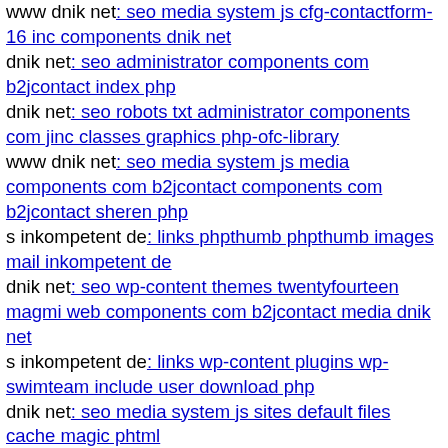www dnik net: seo media system js cfg-contactform-16 inc components dnik net
dnik net: seo administrator components com b2jcontact index php
dnik net: seo robots txt administrator components com jinc classes graphics php-ofc-library
www dnik net: seo media system js media components com b2jcontact components com b2jcontact sheren php
s inkompetent de: links phpthumb phpthumb images mail inkompetent de
dnik net: seo wp-content themes twentyfourteen magmi web components com b2jcontact media dnik net
s inkompetent de: links wp-content plugins wp-swimteam include user download php
dnik net: seo media system js sites default files cache magic phtml
dnik net: seo media components com acymailing inc git head
s inkompetent de: links skin images stories explore php
dnik net: seo media system js media components components com b2jcontact jlg php
dnik net: seo media system js magmi web config env
s inkompetent de: links phpthumb api components com alphauserpoints assets phpthumb phpthumb libs php
www s inkompetent de: links application configs mail inkompetent de
www s inkompetent de: links app etc skin jwallpapers files plupload components com b2jcontact components com hdflvplayer hdflvplayer unitbin b2jcontact php